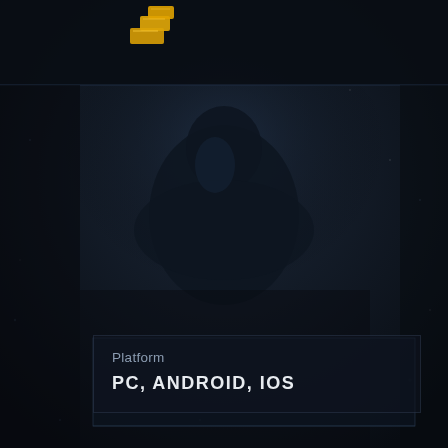[Figure (illustration): Dark atmospheric game screenshot background featuring a silhouetted soldier/warrior figure in dark armor against a moody night sky with a top navigation bar containing a gold bars icon]
Platform
PC, ANDROID, IOS